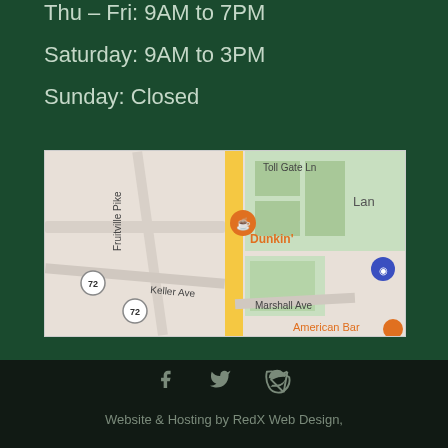Thu – Fri: 9AM to 7PM
Saturday: 9AM to 3PM
Sunday: Closed
[Figure (map): Google Maps screenshot showing location near Fruitville Pike, Keller Ave, Marshall Ave, with Dunkin' marker and surrounding streets including Toll Gate Ln. American Bar visible at bottom.]
Website & Hosting by RedX Web Design,